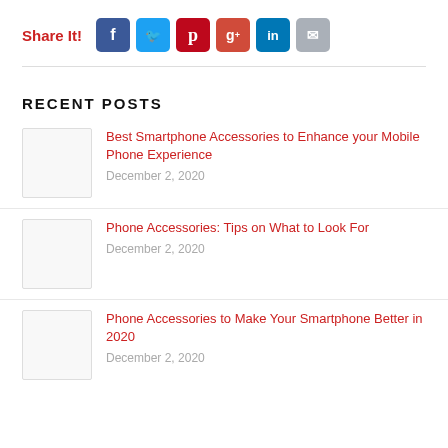Share It!
[Figure (infographic): Social share buttons: Facebook, Twitter, Pinterest, Google+, LinkedIn, Email]
RECENT POSTS
Best Smartphone Accessories to Enhance your Mobile Phone Experience — December 2, 2020
Phone Accessories: Tips on What to Look For — December 2, 2020
Phone Accessories to Make Your Smartphone Better in 2020 — December 2, 2020